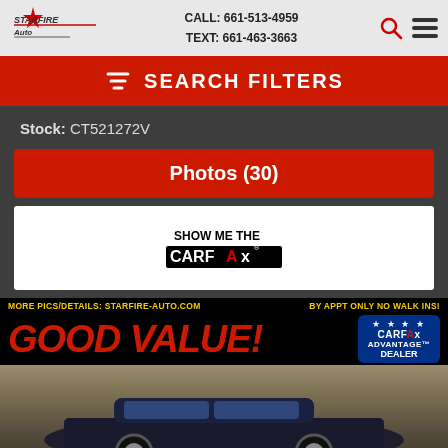CALL: 661-513-4959  TEXT: 661-463-3663
SEARCH FILTERS
Stock:  CT521272V
Photos (30)
[Figure (logo): Show Me The CARFAX logo]
[Figure (photo): Car listing image with GOOD VALUE! banner in red, CARFAX Advantage Dealer badge, and photo of dark-colored Acura RL sedan. Top banner reads: MORE PICS/DETAILS: STARFIRE-AUTO.COM  BY APPT ONLY NO WALK INS!]